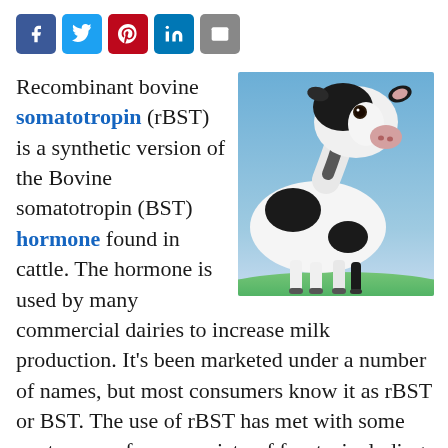[Figure (infographic): Social media sharing icons: Facebook (blue), Twitter (light blue), Pinterest (red), LinkedIn (blue), Email (grey)]
Recombinant bovine somatotropin (rBST) is a synthetic version of the Bovine somatotropin (BST) hormone found in cattle. The hormone is used by many commercial dairies to increase milk production. It's been marketed under a number of names, but most consumers know it as rBST or BST. The use of rBST has met with some controversy from a variety of fronts, including the animal rights movement
[Figure (photo): Close-up photograph of a black and white Holstein dairy cow against a blue sky background]